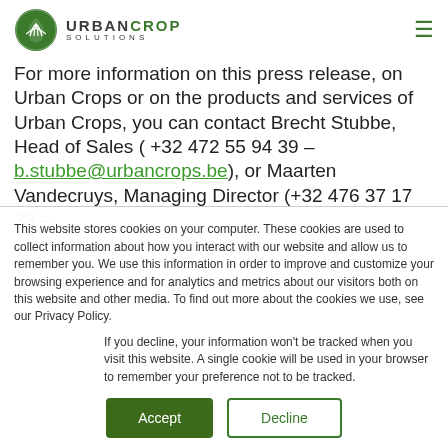URBAN CROP SOLUTIONS
For more information on this press release, on Urban Crops or on the products and services of Urban Crops, you can contact Brecht Stubbe, Head of Sales ( +32 472 55 94 39 – b.stubbe@urbancrops.be), or Maarten Vandecruys, Managing Director (+32 476 37 17 33  –
This website stores cookies on your computer. These cookies are used to collect information about how you interact with our website and allow us to remember you. We use this information in order to improve and customize your browsing experience and for analytics and metrics about our visitors both on this website and other media. To find out more about the cookies we use, see our Privacy Policy.
If you decline, your information won't be tracked when you visit this website. A single cookie will be used in your browser to remember your preference not to be tracked.